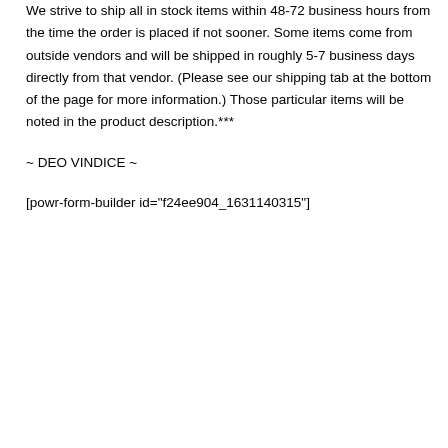We strive to ship all in stock items within 48-72 business hours from the time the order is placed if not sooner. Some items come from outside vendors and will be shipped in roughly 5-7 business days directly from that vendor. (Please see our shipping tab at the bottom of the page for more information.) Those particular items will be noted in the product description.***
~ DEO VINDICE ~
[powr-form-builder id="f24ee904_1631140315"]